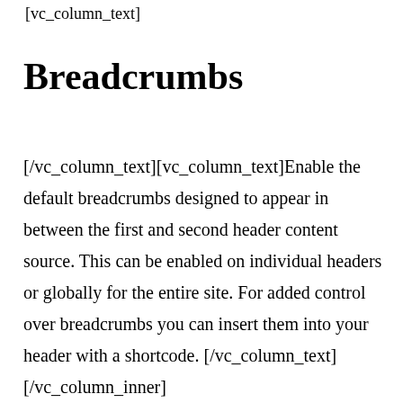[vc_column_text]
Breadcrumbs
[/vc_column_text][vc_column_text]Enable the default breadcrumbs designed to appear in between the first and second header content source. This can be enabled on individual headers or globally for the entire site. For added control over breadcrumbs you can insert them into your header with a shortcode. [/vc_column_text][/vc_column_inner]